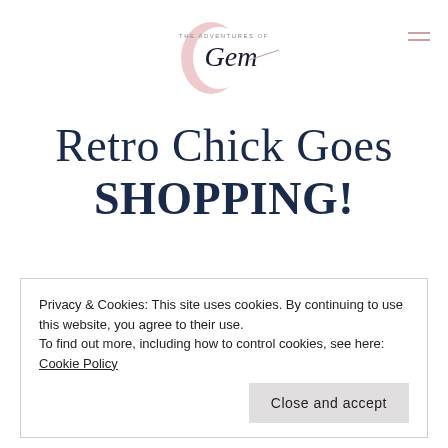[Figure (logo): The Adventures of Gem blog logo with pink crescent moon/G shape and script text]
Retro Chick Goes SHOPPING!
Privacy & Cookies: This site uses cookies. By continuing to use this website, you agree to their use.
To find out more, including how to control cookies, see here: Cookie Policy
Close and accept